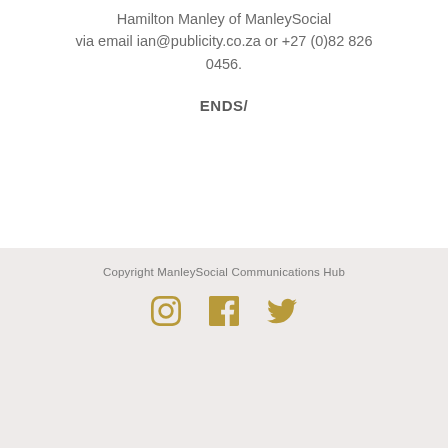Hamilton Manley of ManleySocial via email ian@publicity.co.za or +27 (0)82 826 0456.
ENDS/
Copyright ManleySocial Communications Hub
[Figure (illustration): Three social media icons in gold/tan color: Instagram, Facebook, and Twitter]